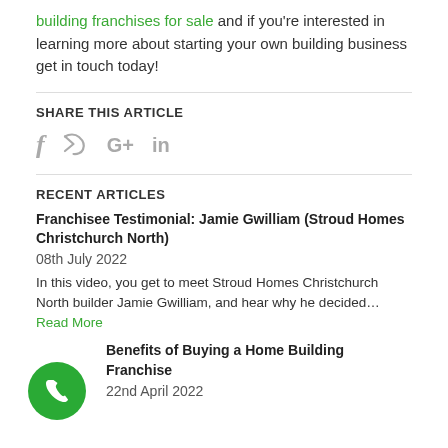building franchises for sale and if you're interested in learning more about starting your own building business get in touch today!
SHARE THIS ARTICLE
[Figure (other): Social media share icons: Facebook (f), Twitter (bird), Google+ (G+), LinkedIn (in)]
RECENT ARTICLES
Franchisee Testimonial: Jamie Gwilliam (Stroud Homes Christchurch North)
08th July 2022
In this video, you get to meet Stroud Homes Christchurch North builder Jamie Gwilliam, and hear why he decided... Read More
Benefits of Buying a Home Building Franchise
22nd April 2022